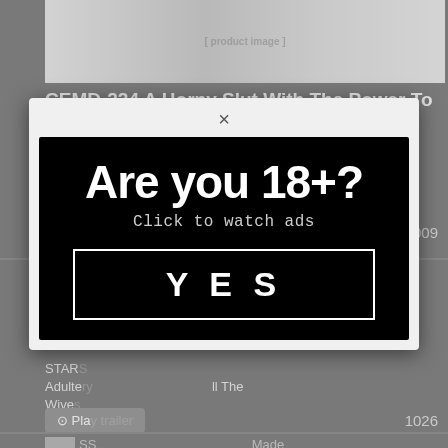[Figure (screenshot): Product banner image for CEMD-224 adult video with Japanese text and 4K badge]
CEMD-224 A Horny Slut With The Power To Stop Time! 3 Aoi Kururugi
⊙ Play trailer   👁 1009
ST[...] en Adult[...] All The W[...] onjo
STAR[...] Adulte[...] ll The Wive[...]
⊙ Pla[...]   1026
SS[...] Made Her Life A Mess With False Charges Ordered And Still
[Figure (screenshot): Age verification modal popup with black background showing 'Are you 18+?' and 'Click to watch ads' text with YES button, overlaid on adult content website]